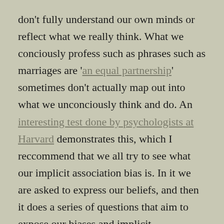don't fully understand our own minds or reflect what we really think. What we conciously profess such as phrases such as marriages are 'an equal partnership' sometimes don't actually map out into what we unconciously think and do. An interesting test done by psychologists at Harvard demonstrates this, which I reccommend that we all try to see what our implicit association bias is. In it we are asked to express our beliefs, and then it does a series of questions that aim to expose our biases and implicit associations regarding race. Often the results of the test don't reflect what we conciously claim that we adhere to. For instance, most people wouldn't consider themselves racist yet when they take the ICT test to test racial bias towards black people, overwhelmingly it appears that we have a preference towards white people from the tests